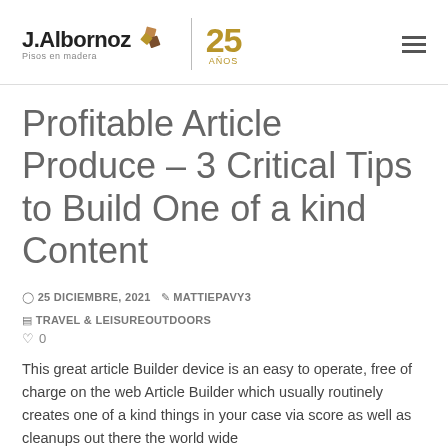J.Albornoz Pisos en madera | 25 Años
Profitable Article Produce – 3 Critical Tips to Build One of a kind Content
25 DICIEMBRE, 2021  MATTIEPAVY3  TRAVEL & LEISUREOUTDOORS  0
This great article Builder device is an easy to operate, free of charge on the web Article Builder which usually routinely creates one of a kind things in your case via score as well as cleanups out there the world wide